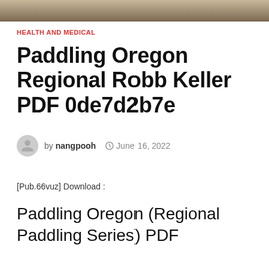[Figure (photo): Partial photo strip at top of page, appears to be an outdoor nature/paddling scene]
HEALTH AND MEDICAL
Paddling Oregon Regional Robb Keller PDF 0de7d2b7e
by nangpooh  June 16, 2022
[Pub.66vuz] Download :
Paddling Oregon (Regional Paddling Series) PDF